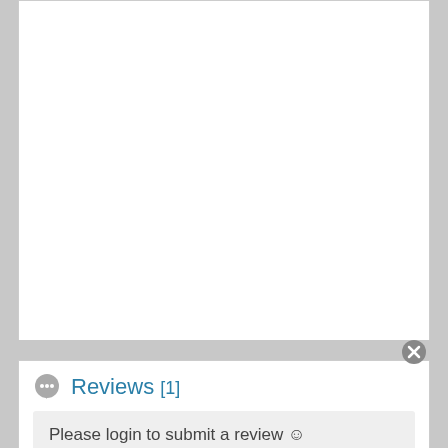Reviews [1]
Please login to submit a review 🙂
foodsleuth1
[Figure (other): Five blue star rating icons]
[Figure (infographic): Advertisement banner: Official NFL Gear - Get Your Favorite Team's Gear Here - www.nflshop.com, with red box showing 50% OFF text and blue arrow button]